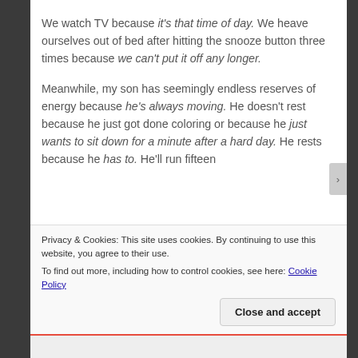We watch TV because it's that time of day. We heave ourselves out of bed after hitting the snooze button three times because we can't put it off any longer.

Meanwhile, my son has seemingly endless reserves of energy because he's always moving. He doesn't rest because he just got done coloring or because he just wants to sit down for a minute after a hard day. He rests because he has to. He'll run fifteen
Privacy & Cookies: This site uses cookies. By continuing to use this website, you agree to their use.
To find out more, including how to control cookies, see here: Cookie Policy